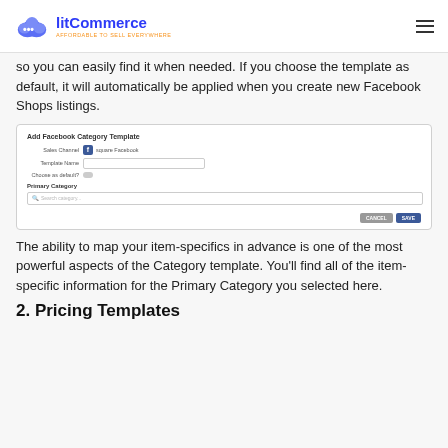litCommerce - AFFORDABLE TO SELL EVERYWHERE
so you can easily find it when needed. If you choose the template as default, it will automatically be applied when you create new Facebook Shops listings.
[Figure (screenshot): Screenshot of 'Add Facebook Category Template' dialog with fields: Sales Channel (Facebook icon, 'square Facebook'), Template Name (text input), Choose as default (toggle), Primary Category section with a search input box, and CANCEL/SAVE buttons.]
The ability to map your item-specifics in advance is one of the most powerful aspects of the Category template. You'll find all of the item-specific information for the Primary Category you selected here.
2. Pricing Templates